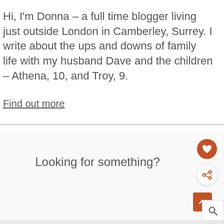Hi, I'm Donna – a full time blogger living just outside London in Camberley, Surrey. I write about the ups and downs of family life with my husband Dave and the children – Athena, 10, and Troy, 9.
Find out more
Looking for something?